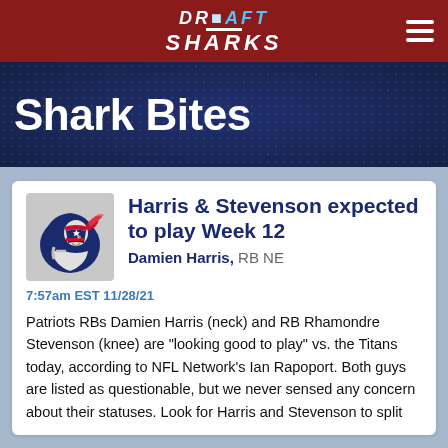DRAFT SHARKS
Shark Bites
Harris & Stevenson expected to play Week 12
Damien Harris, RB NE
7:57am EST 11/28/21
Patriots RBs Damien Harris (neck) and RB Rhamondre Stevenson (knee) are "looking good to play" vs. the Titans today, according to NFL Network's Ian Rapoport. Both guys are listed as questionable, but we never sensed any concern about their statuses. Look for Harris and Stevenson to split